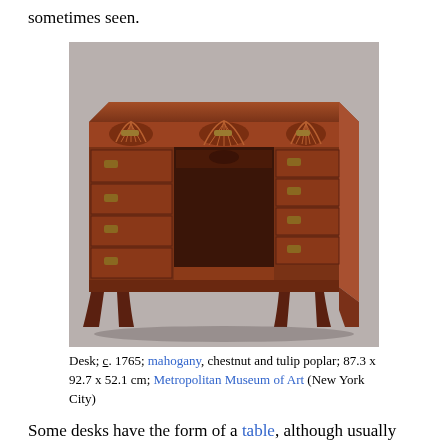sometimes seen.
[Figure (photo): Photograph of a Chippendale-style kneehole desk made of mahogany, chestnut and tulip poplar, circa 1765. The desk has carved shell motifs, brass bail pulls, multiple drawers on each side of a central kneehole, and cabriole legs. Gray studio background.]
Desk; c. 1765; mahogany, chestnut and tulip poplar; 87.3 x 92.7 x 52.1 cm; Metropolitan Museum of Art (New York City)
Some desks have the form of a table, although usually